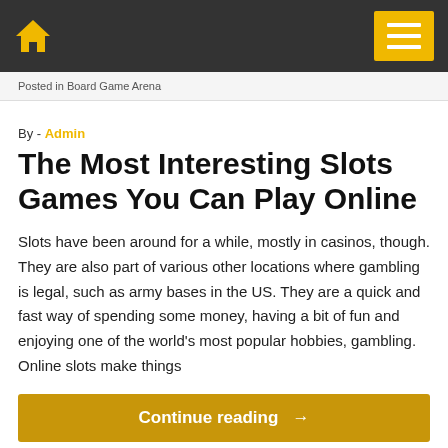Board Game Arena — navigation bar with home icon and menu button
Posted in Board Game Arena
By - Admin
The Most Interesting Slots Games You Can Play Online
Slots have been around for a while, mostly in casinos, though. They are also part of various other locations where gambling is legal, such as army bases in the US. They are a quick and fast way of spending some money, having a bit of fun and enjoying one of the world's most popular hobbies, gambling. Online slots make things
Continue reading →